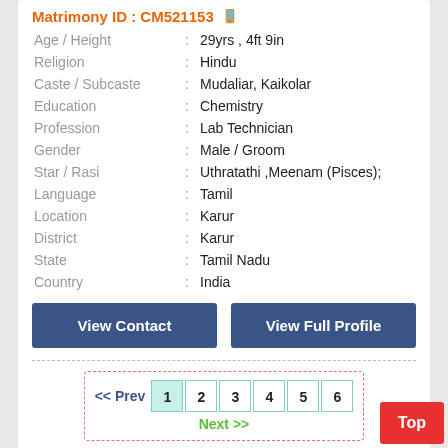Matrimony ID : CM521153
| Field |  | Value |
| --- | --- | --- |
| Age / Height | : | 29yrs , 4ft 9in |
| Religion | : | Hindu |
| Caste / Subcaste | : | Mudaliar, Kaikolar |
| Education | : | Chemistry |
| Profession | : | Lab Technician |
| Gender | : | Male / Groom |
| Star / Rasi | : | Uthratathi ,Meenam (Pisces); |
| Language | : | Tamil |
| Location | : | Karur |
| District | : | Karur |
| State | : | Tamil Nadu |
| Country | : | India |
View Contact
View Full Profile
<< Prev  1  2  3  4  5  6  Next >>